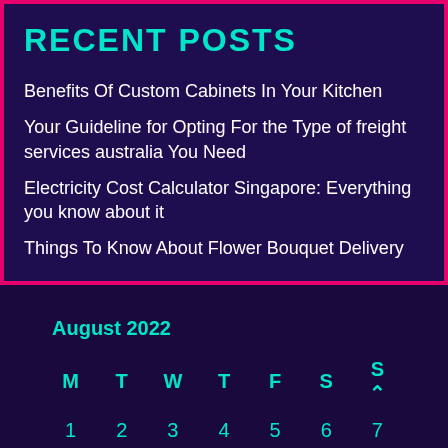RECENT POSTS
Benefits Of Custom Cabinets In Your Kitchen
Your Guideline for Opting For the Type of freight services australia You Need
Electricity Cost Calculator Singapore: Everything you know about it
Things To Know About Flower Bouquet Delivery
August 2022
| M | T | W | T | F | S | S |
| --- | --- | --- | --- | --- | --- | --- |
| 1 | 2 | 3 | 4 | 5 | 6 | 7 |
| 8 | 9 | 10 | 11 | 12 | 13 | 14 |